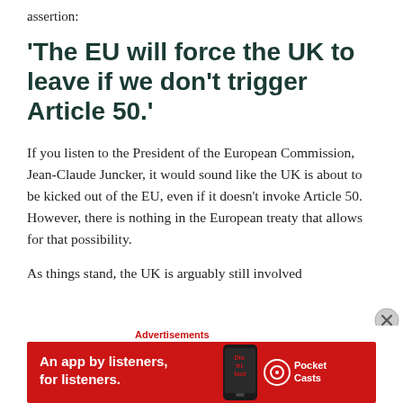assertion:
‘The EU will force the UK to leave if we don’t trigger Article 50.’
If you listen to the President of the European Commission, Jean-Claude Juncker, it would sound like the UK is about to be kicked out of the EU, even if it doesn’t invoke Article 50. However, there is nothing in the European treaty that allows for that possibility.
As things stand, the UK is arguably still involved
Advertisements
[Figure (other): Advertisement banner for Pocket Casts app: red background with phone showing 'Distributed' text, 'An app by listeners, for listeners.' and Pocket Casts logo]